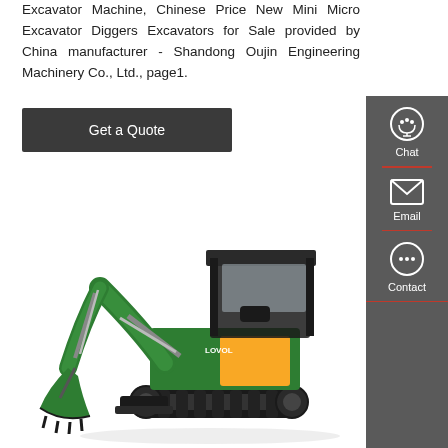Excavator Machine, Chinese Price New Mini Micro Excavator Diggers Excavators for Sale provided by China manufacturer - Shandong Oujin Engineering Machinery Co., Ltd., page1.
Get a Quote
[Figure (photo): Green and yellow LOVOL mini micro excavator/digger with black tracks and a front bucket, shown on white background]